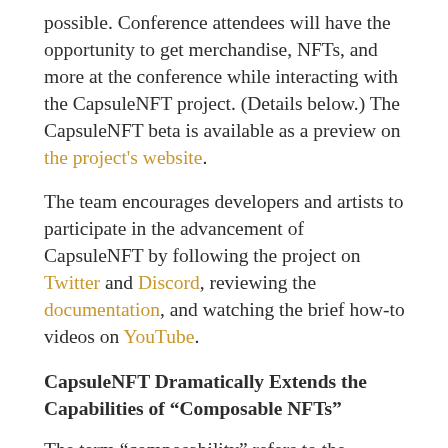possible. Conference attendees will have the opportunity to get merchandise, NFTs, and more at the conference while interacting with the CapsuleNFT project. (Details below.) The CapsuleNFT beta is available as a preview on the project's website.
The team encourages developers and artists to participate in the advancement of CapsuleNFT by following the project on Twitter and Discord, reviewing the documentation, and watching the brief how-to videos on YouTube.
CapsuleNFT Dramatically Extends the Capabilities of “Composable NFTs”
The term “composability” refers to the